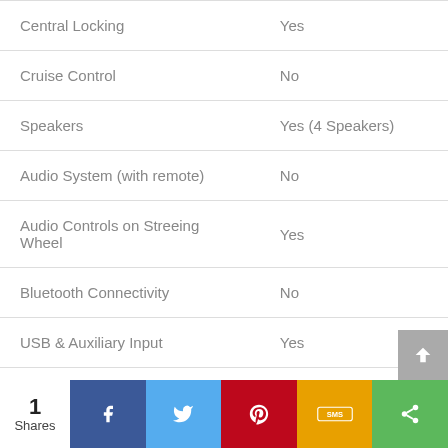| Feature | Value |
| --- | --- |
| Central Locking | Yes |
| Cruise Control | No |
| Speakers | Yes (4 Speakers) |
| Audio System (with remote) | No |
| Audio Controls on Streeing Wheel | Yes |
| Bluetooth Connectivity | No |
| USB & Auxiliary Input | Yes |